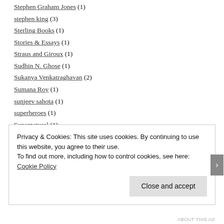Stephen Graham Jones (1)
stephen king (3)
Sterling Books (1)
Stories & Essays (1)
Straus and Giroux (1)
Sudhin N. Ghose (1)
Sukanya Venkatraghavan (2)
Sumana Roy (1)
sunjeev sahota (1)
superheroes (1)
Supernatural (1)
susan minot (1)
Suspense and Thriller (13)
Privacy & Cookies: This site uses cookies. By continuing to use this website, you agree to their use.
To find out more, including how to control cookies, see here: Cookie Policy
ABOUT THIS AD